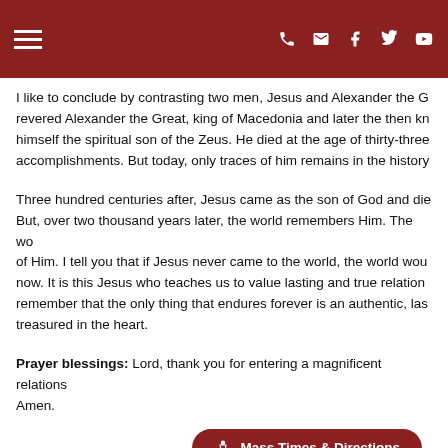Navigation header with hamburger menu and icons (phone, email, Facebook, Twitter, YouTube)
I like to conclude by contrasting two men, Jesus and Alexander the G... revered Alexander the Great, king of Macedonia and later the then kn... himself the spiritual son of the Zeus. He died at the age of thirty-three... accomplishments. But today, only traces of him remains in the history
Three hundred centuries after, Jesus came as the son of God and die... But, over two thousand years later, the world remembers Him. The wo... of Him. I tell you that if Jesus never came to the world, the world wou... now. It is this Jesus who teaches us to value lasting and true relation... remember that the only thing that endures forever is an authentic, las... treasured in the heart.
Prayer blessings: Lord, thank you for entering a magnificent relations... Amen.
[Figure (other): Mass Times & Directions button with chalice icon]